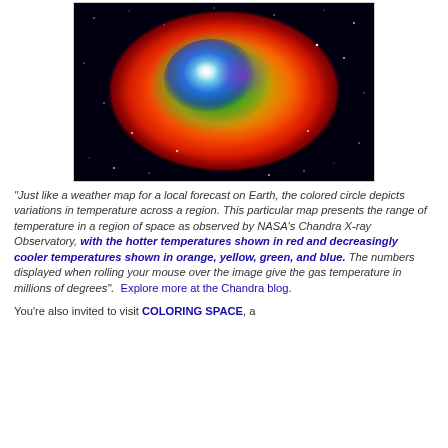[Figure (photo): False-color X-ray image of a nebula/supernova remnant from NASA's Chandra X-ray Observatory. The image shows a roughly circular glowing region against a black starfield. Colors range from red (hot, outer edges) through orange and yellow to green and blue (cooler, center region). The center shows bright blue and green emission with purple patches.]
"Just like a weather map for a local forecast on Earth, the colored circle depicts variations in temperature across a region. This particular map presents the range of temperature in a region of space as observed by NASA's Chandra X-ray Observatory, with the hotter temperatures shown in red and decreasingly cooler temperatures shown in orange, yellow, green, and blue. The numbers displayed when rolling your mouse over the image give the gas temperature in millions of degrees".  Explore more at the Chandra blog.
You're also invited to visit COLORING SPACE, a